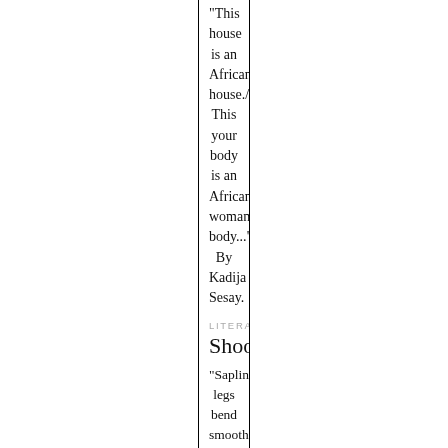"This house is an African house./ This your body is an African woman's body..." By Kadija Sesay.
LITERATURE
Shoots
"Sapling legs bend smoothly, power foot in place,/ her back, parallel to solid ground,/ makes her torso a table of support..." By Kadija Sesay.
LITERATURE
A Dry Season Doctor in West Africa
"She presses her toes together. I will never marry, she says. Jamais dans cette vie! Where can I find a man like you?" By...
IN THE ISSUE
Property of a Sorceress